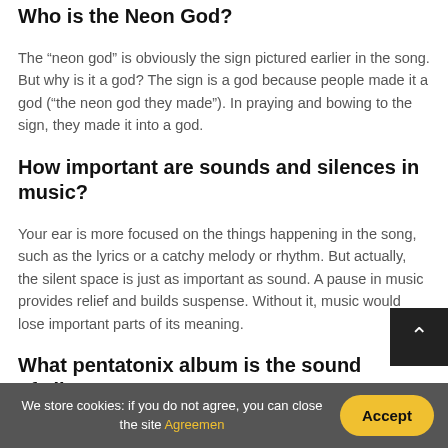Who is the Neon God?
The “neon god” is obviously the sign pictured earlier in the song. But why is it a god? The sign is a god because people made it a god (“the neon god they made”). In praying and bowing to the sign, they made it into a god.
How important are sounds and silences in music?
Your ear is more focused on the things happening in the song, such as the lyrics or a catchy melody or rhythm. But actually, the silent space is just as important as sound. A pause in music provides relief and builds suspense. Without it, music would lose important parts of its meaning.
What pentatonix album is the sound of silence on?
We store cookies: if you do not agree, you can close the site Agreemen